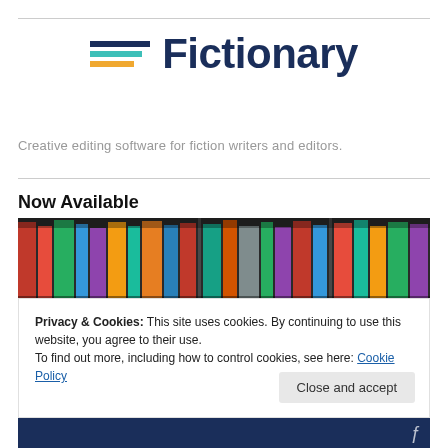[Figure (logo): Fictionary logo with three horizontal bars (dark blue, teal, orange) and bold dark blue text 'Fictionary']
Creative editing software for fiction writers and editors.
Now Available
[Figure (photo): Photo of colorful books lined up on a shelf]
Privacy & Cookies: This site uses cookies. By continuing to use this website, you agree to their use.
To find out more, including how to control cookies, see here: Cookie Policy
Close and accept